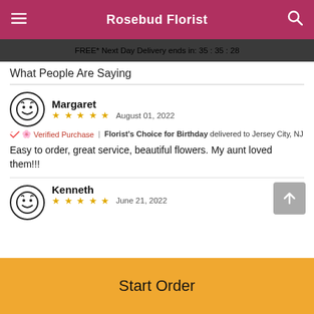Rosebud Florist
FREE* Next Day Delivery ends in: 35:35:28
What People Are Saying
Margaret
★★★★★  August 01, 2022
🌸 Verified Purchase | Florist's Choice for Birthday delivered to Jersey City, NJ
Easy to order, great service, beautiful flowers. My aunt loved them!!!
Kenneth
★★★★★  June 21, 2022
Start Order